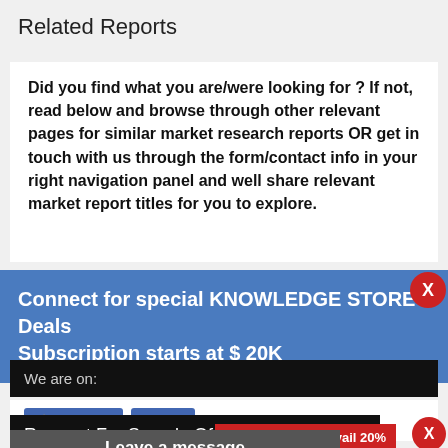Related Reports
Did you find what you are/were looking for ? If not, read below and browse through other relevant pages for similar market research reports OR get in touch with us through the form/contact info in your right navigation panel and well share relevant market report titles for you to explore.
Connect for special KNOWLEDGE STORE Deals Subscription starts at $ 20K
We are on:
Like 770  Share
Request For Sample Of This Report
Buy Any Report Avail 20% Code:
Leave a message
Why Re